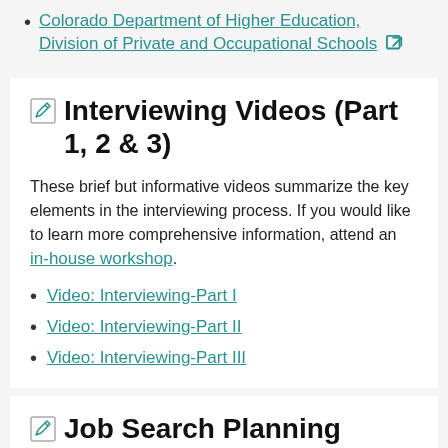Colorado Department of Higher Education, Division of Private and Occupational Schools [external link]
Interviewing Videos (Part 1, 2 & 3)
These brief but informative videos summarize the key elements in the interviewing process. If you would like to learn more comprehensive information, attend an in-house workshop.
Video: Interviewing-Part I
Video: Interviewing-Part II
Video: Interviewing-Part III
Job Search Planning Video